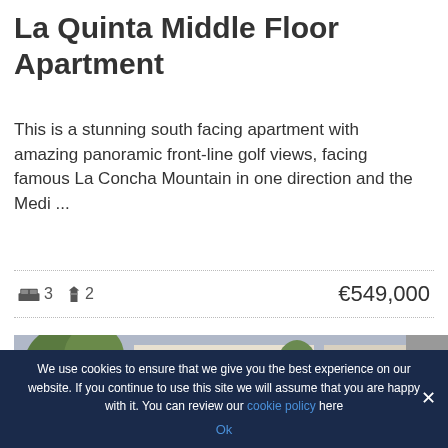La Quinta Middle Floor Apartment
This is a stunning south facing apartment with amazing panoramic front-line golf views, facing famous La Concha Mountain in one direction and the Medi ...
🛏 3  🔑 2   €549,000
[Figure (photo): Exterior photo of apartment building with trees and balconies]
We use cookies to ensure that we give you the best experience on our website. If you continue to use this site we will assume that you are happy with it. You can review our cookie policy here
Ok